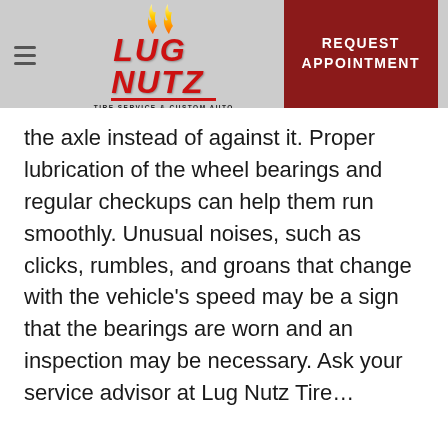Lug Nutz Tire Service & Custom Auto — REQUEST APPOINTMENT
the axle instead of against it. Proper lubrication of the wheel bearings and regular checkups can help them run smoothly. Unusual noises, such as clicks, rumbles, and groans that change with the vehicle's speed may be a sign that the bearings are worn and an inspection may be necessary. Ask your service advisor at Lug Nutz Tire...